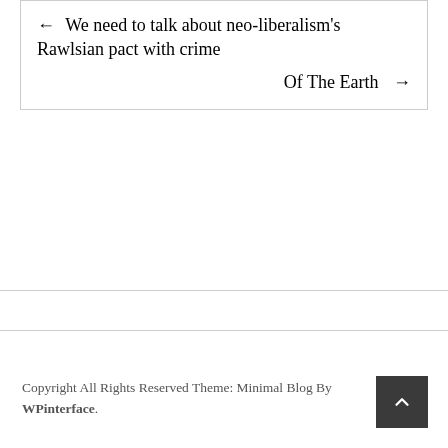← We need to talk about neo-liberalism's Rawlsian pact with crime
Of The Earth →
Copyright All Rights Reserved Theme: Minimal Blog By WPinterface.